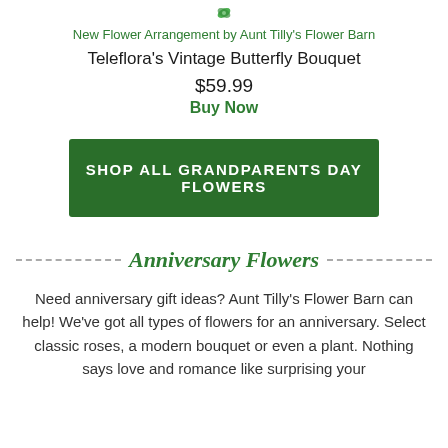[Figure (illustration): Small green leaf/flower icon]
New Flower Arrangement by Aunt Tilly's Flower Barn
Teleflora's Vintage Butterfly Bouquet
$59.99
Buy Now
SHOP ALL GRANDPARENTS DAY FLOWERS
Anniversary Flowers
Need anniversary gift ideas? Aunt Tilly's Flower Barn can help! We've got all types of flowers for an anniversary. Select classic roses, a modern bouquet or even a plant. Nothing says love and romance like surprising your